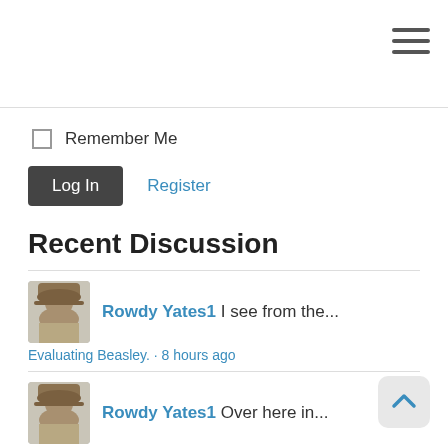Remember Me
Log In   Register
Recent Discussion
Rowdy Yates1 I see from the... Evaluating Beasley. · 8 hours ago
Rowdy Yates1 Over here in... Evaluating Beasley. · 8 hours ago
MyBoyIbanez It's never easy Evaluating Beasley. · 12 hours ago
MyBoyIbanez Walk him !!!